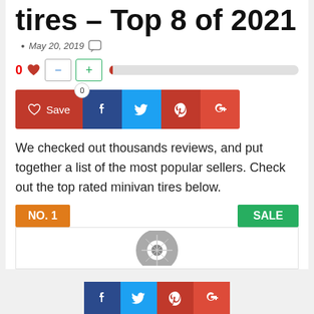tires – Top 8 of 2021
May 20, 2019
[Figure (infographic): Vote buttons: 0 heart, minus button, plus button, and a progress bar]
[Figure (infographic): Social sharing buttons: Save (heart), Facebook, Twitter, Pinterest, Google+]
We checked out thousands reviews, and put together a list of the most popular sellers. Check out the top rated minivan tires below.
[Figure (infographic): NO. 1 orange badge on left, SALE green badge on right, with product card below showing tire image]
[Figure (infographic): Bottom social sharing bar: Facebook, Twitter, Pinterest, Google+]